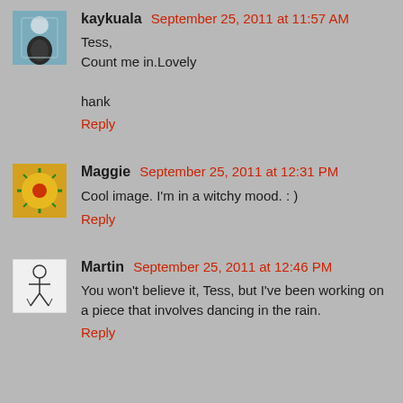[Figure (photo): Avatar image of kaykuala, outdoor photo with person in dark outfit]
kaykuala September 25, 2011 at 11:57 AM
Tess,
Count me in.Lovely

hank
Reply
[Figure (photo): Avatar image of Maggie, sunflower photo]
Maggie September 25, 2011 at 12:31 PM
Cool image. I'm in a witchy mood. : )
Reply
[Figure (photo): Avatar image of Martin, black and white illustration]
Martin September 25, 2011 at 12:46 PM
You won't believe it, Tess, but I've been working on a piece that involves dancing in the rain.
Reply